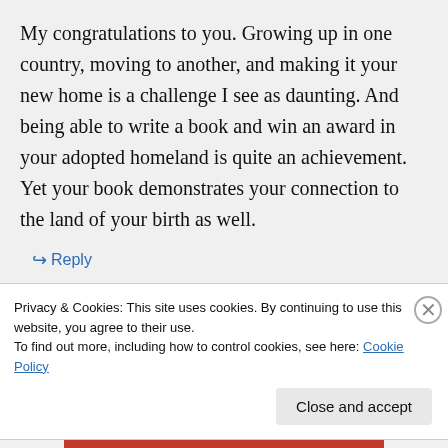My congratulations to you. Growing up in one country, moving to another, and making it your new home is a challenge I see as daunting. And being able to write a book and win an award in your adopted homeland is quite an achievement. Yet your book demonstrates your connection to the land of your birth as well.
↳ Reply
Privacy & Cookies: This site uses cookies. By continuing to use this website, you agree to their use. To find out more, including how to control cookies, see here: Cookie Policy
Close and accept